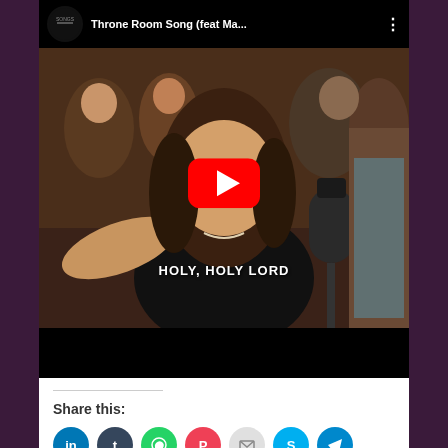[Figure (screenshot): YouTube video thumbnail showing a woman singing with 'HOLY, HOLY LORD' subtitle, with YouTube play button overlay. Video title: 'Throne Room Song (feat Ma...']
Share this:
[Figure (infographic): Row of social share icon buttons: LinkedIn, Tumblr, WhatsApp, Pocket, Email, Skype, Telegram, Print]